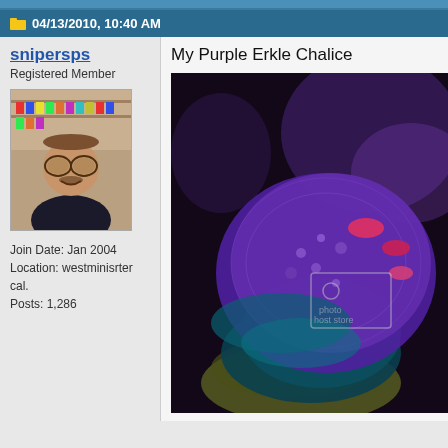04/13/2010, 10:40 AM
snipersps
Registered Member
[Figure (photo): Avatar photo of forum user snipersps wearing novelty glasses in a store]
Join Date: Jan 2004
Location: westminisrter cal.
Posts: 1,286
My Purple Erkle Chalice
[Figure (photo): Close-up photo of a Purple Erkle Chalice coral with purple, pink, and teal coloring on a dark background, with a photobucket watermark]